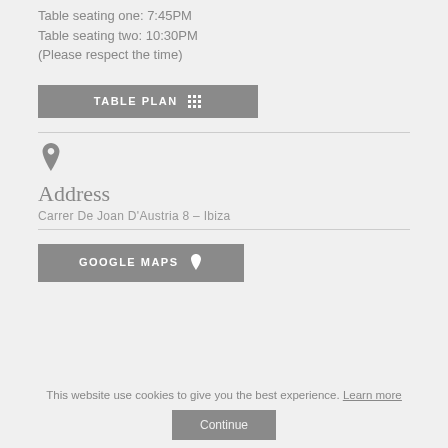Table seating one: 7:45PM
Table seating two: 10:30PM
(Please respect the time)
TABLE PLAN
Address
Carrer De Joan D'Austria 8 – Ibiza
GOOGLE MAPS
This website use cookies to give you the best experience. Learn more
Continue